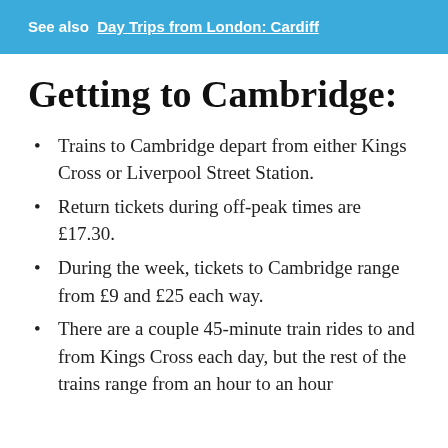See also  Day Trips from London: Cardiff
Getting to Cambridge:
Trains to Cambridge depart from either Kings Cross or Liverpool Street Station.
Return tickets during off-peak times are £17.30.
During the week, tickets to Cambridge range from £9 and £25 each way.
There are a couple 45-minute train rides to and from Kings Cross each day, but the rest of the trains range from an hour to an hour